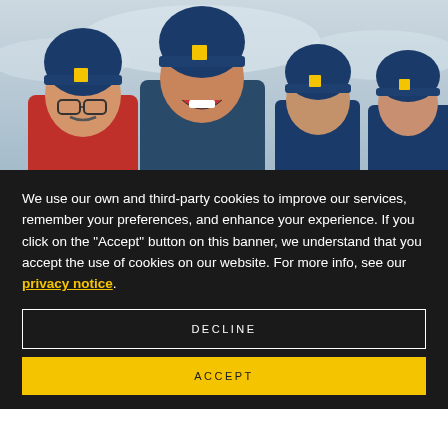[Figure (photo): Group of people wearing blue National Geographic beanies, smiling, photographed outdoors against an overcast sky]
We use our own and third-party cookies to improve our services, remember your preferences, and enhance your experience. If you click on the "Accept" button on this banner, we understand that you accept the use of cookies on our website. For more info, see our privacy notice.
DECLINE
ACCEPT